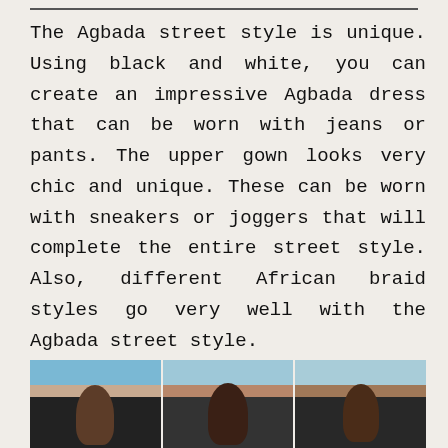The Agbada street style is unique. Using black and white, you can create an impressive Agbada dress that can be worn with jeans or pants. The upper gown looks very chic and unique. These can be worn with sneakers or joggers that will complete the entire street style. Also, different African braid styles go very well with the Agbada street style.
[Figure (photo): Three photos side by side showing women wearing Agbada street style outfits with African braid hairstyles]